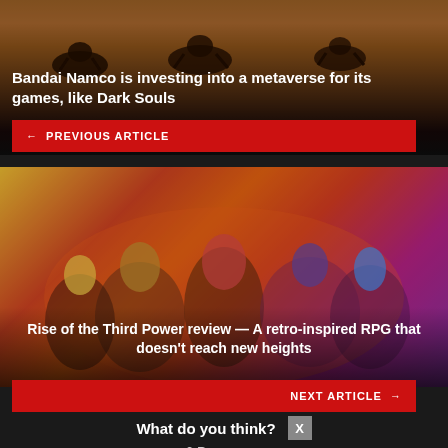[Figure (illustration): Dark atmospheric image with silhouettes of horse riders against an orange/red sunset sky, related to a Bandai Namco metaverse article]
Bandai Namco is investing into a metaverse for its games, like Dark Souls
← PREVIOUS ARTICLE
[Figure (illustration): Colorful RPG artwork showing anime-style characters group against a dramatic orange/purple sunset sky, for Rise of the Third Power review]
Rise of the Third Power review — A retro-inspired RPG that doesn't reach new heights
NEXT ARTICLE →
What do you think?
0 Responses